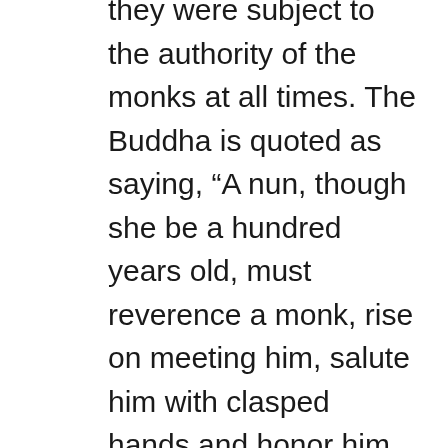they were subject to the authority of the monks at all times.  The Buddha is quoted as saying, “A nun, though she be a hundred years old, must reverence a monk, rise on meeting him, salute him with clasped hands and honor him with her respects, although he may have been received into the order only that day.” Some today argue that the Buddha was only communicating on a level his followers could understand and he went against the male chauvinism in his culture.  It is interesting that today, Buddha draws a strong following from women in the feminist movement.